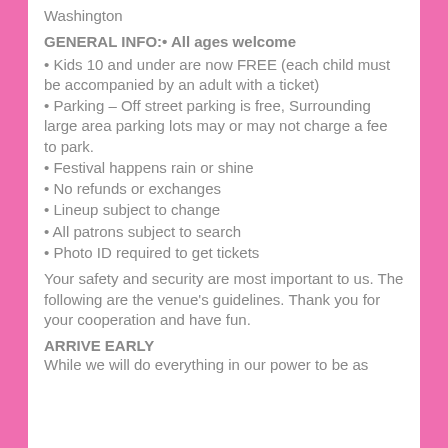Washington
GENERAL INFO:• All ages welcome
• Kids 10 and under are now FREE (each child must be accompanied by an adult with a ticket)
• Parking – Off street parking is free, Surrounding large area parking lots may or may not charge a fee to park.
• Festival happens rain or shine
• No refunds or exchanges
• Lineup subject to change
• All patrons subject to search
• Photo ID required to get tickets
Your safety and security are most important to us. The following are the venue's guidelines. Thank you for your cooperation and have fun.
ARRIVE EARLY
While we will do everything in our power to be as